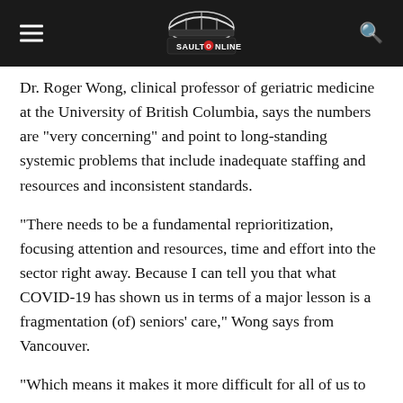SaultOnline logo header with hamburger menu and search icon
Dr. Roger Wong, clinical professor of geriatric medicine at the University of British Columbia, says the numbers are "very concerning" and point to long-standing systemic problems that include inadequate staffing and resources and inconsistent standards.
"There needs to be a fundamental reprioritization, focusing attention and resources, time and effort into the sector right away. Because I can tell you that what COVID-19 has shown us in terms of a major lesson is a fragmentation (of) seniors' care," Wong says from Vancouver.
"Which means it makes it more difficult for all of us to support our older Canadians with equal and consistent access to the services that are necessary, based on their care needs at their age."